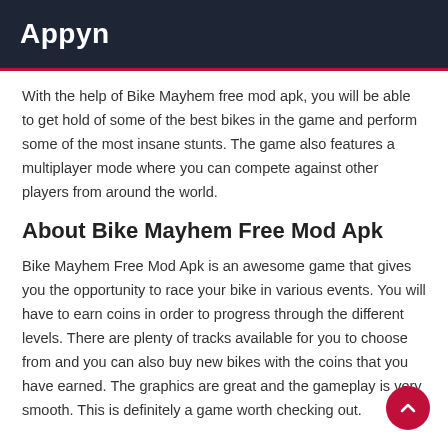Appyn
With the help of Bike Mayhem free mod apk, you will be able to get hold of some of the best bikes in the game and perform some of the most insane stunts. The game also features a multiplayer mode where you can compete against other players from around the world.
About Bike Mayhem Free Mod Apk
Bike Mayhem Free Mod Apk is an awesome game that gives you the opportunity to race your bike in various events. You will have to earn coins in order to progress through the different levels. There are plenty of tracks available for you to choose from and you can also buy new bikes with the coins that you have earned. The graphics are great and the gameplay is very smooth. This is definitely a game worth checking out.